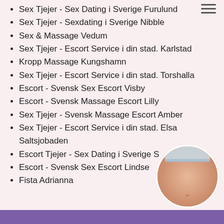Sex Tjejer - Sex Dating i Sverige Furulund
Sex Tjejer - Sexdating i Sverige Nibble
Sex & Massage Vedum
Sex Tjejer - Escort Service i din stad. Karlstad
Kropp Massage Kungshamn
Sex Tjejer - Escort Service i din stad. Torshalla
Escort - Svensk Sex Escort Visby
Escort - Svensk Massage Escort Lilly
Sex Tjejer - Svensk Massage Escort Amber
Sex Tjejer - Escort Service i din stad. Elsa Saltsjobaden
Escort Tjejer - Sex Dating i Sverige S...
Escort - Svensk Sex Escort Lindse...
Fista Adrianna
[Figure (photo): Circular cropped photo of a person's torso, partially obscuring some list items in the lower right of the page.]